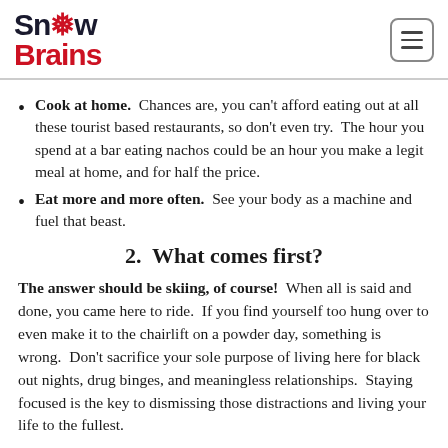SnowBrains
Cook at home. Chances are, you can't afford eating out at all these tourist based restaurants, so don't even try. The hour you spend at a bar eating nachos could be an hour you make a legit meal at home, and for half the price.
Eat more and more often. See your body as a machine and fuel that beast.
2. What comes first?
The answer should be skiing, of course! When all is said and done, you came here to ride. If you find yourself too hung over to even make it to the chairlift on a powder day, something is wrong. Don't sacrifice your sole purpose of living here for black out nights, drug binges, and meaningless relationships. Staying focused is the key to dismissing those distractions and living your life to the fullest.